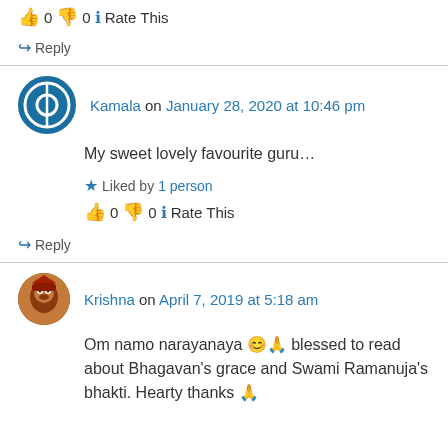👍 0 👎 0 ℹ Rate This
↪ Reply
Kamala on January 28, 2020 at 10:46 pm
My sweet lovely favourite guru…
★ Liked by 1 person
👍 0 👎 0 ℹ Rate This
↪ Reply
Krishna on April 7, 2019 at 5:18 am
Om namo narayanaya 😊🙏 blessed to read about Bhagavan's grace and Swami Ramanuja's bhakti. Hearty thanks 🙏